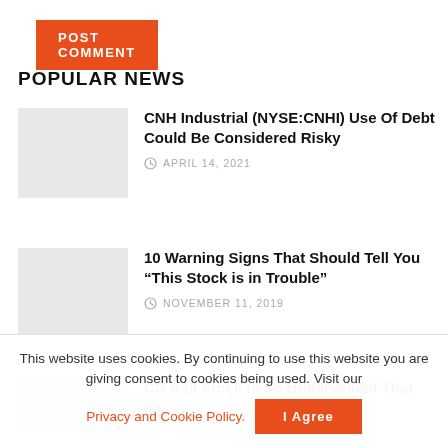POST COMMENT
POPULAR NEWS
CNH Industrial (NYSE:CNHI) Use Of Debt Could Be Considered Risky
APRIL 14, 2021
10 Warning Signs That Should Tell You “This Stock is in Trouble”
NOVEMBER 11, 2019
CN Rail Stock Is So Undervalued That it's
This website uses cookies. By continuing to use this website you are giving consent to cookies being used. Visit our Privacy and Cookie Policy. I Agree